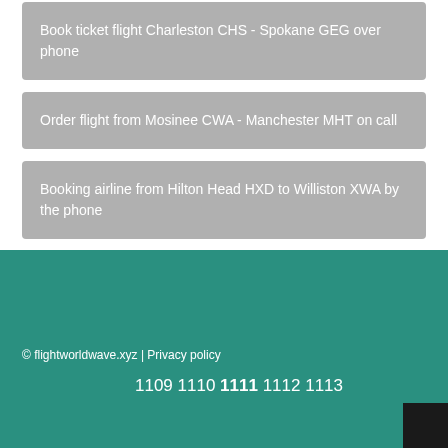Book ticket flight Charleston CHS - Spokane GEG over phone
Order flight from Mosinee CWA - Manchester MHT on call
Booking airline from Hilton Head HXD to Williston XWA by the phone
© flightworldwave.xyz | Privacy policy
1109 1110 1111 1112 1113